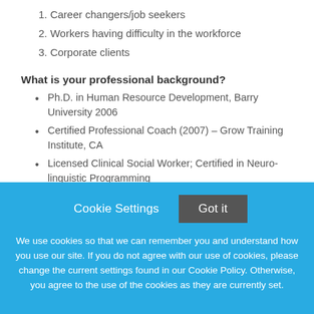1. Career changers/job seekers
2. Workers having difficulty in the workforce
3. Corporate clients
What is your professional background?
Ph.D. in Human Resource Development, Barry University 2006
Certified Professional Coach (2007) – Grow Training Institute, CA
Licensed Clinical Social Worker; Certified in Neuro-linguistic Programming
25+ years of progressive management experience in regional and national corporations, mainly in healthcare-related fields
Owner of Committed to Your Success Coaching & Consulting since 2007, which provides career coaching, employee assistance/workplace
Cookie Settings   Got it

We use cookies so that we can remember you and understand how you use our site. If you do not agree with our use of cookies, please change the current settings found in our Cookie Policy. Otherwise, you agree to the use of the cookies as they are currently set.